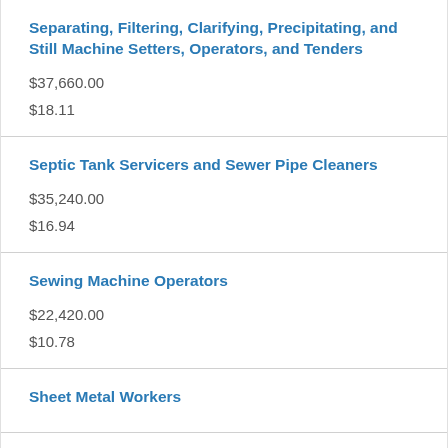Separating, Filtering, Clarifying, Precipitating, and Still Machine Setters, Operators, and Tenders
$37,660.00
$18.11
Septic Tank Servicers and Sewer Pipe Cleaners
$35,240.00
$16.94
Sewing Machine Operators
$22,420.00
$10.78
Sheet Metal Workers